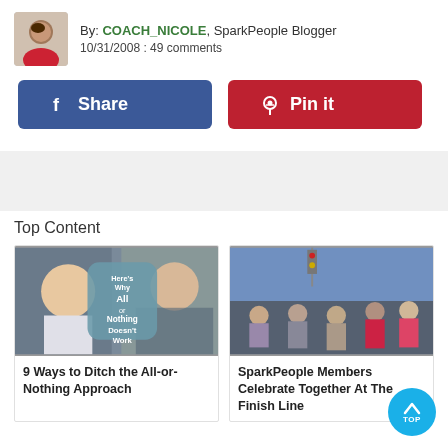By: COACH_NICOLE, SparkPeople Blogger
10/31/2008 : 49 comments
[Figure (other): Facebook Share button (blue) and Pinterest Pin it button (red)]
Top Content
[Figure (photo): Two people eating unhealthily and healthily with text overlay: Here's Why All or Nothing Doesn't Work]
9 Ways to Ditch the All-or-Nothing Approach
[Figure (photo): Group photo of SparkPeople members at a race finish line]
SparkPeople Members Celebrate Together At The Finish Line